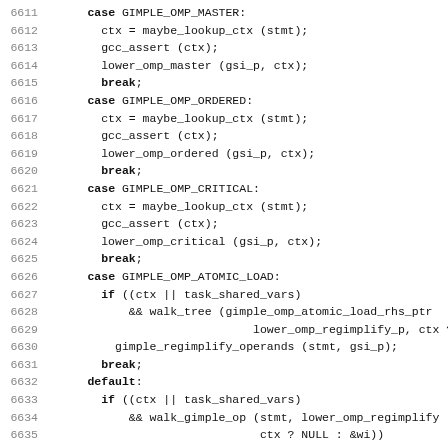[Figure (screenshot): Source code snippet in C showing a switch-case block handling GIMPLE OMP operations (MASTER, ORDERED, CRITICAL, ATOMIC_LOAD) and a default case, followed by static void lower_omp function declaration. Line numbers 6611-6642 are shown on the left in gray.]